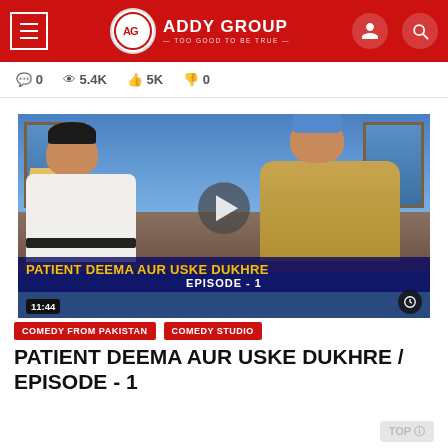ADDY GROUP — TOO GOOD TO BE TRUE
0 comments  5.4K views  5K likes  0 dislikes
[Figure (screenshot): Video thumbnail showing two men sitting in a TV studio. Left man wears white shalwar kameez and black cap. Right man wears a beige blanket and blue beanie. Overlay text reads 'PATIENT DEEMA AUR USKE DUKHRE' in yellow and 'EPISODE - 1' in white. Duration 11:44 shown bottom left.]
COMEDY FROM PAKISTAN
COMEDY STUDIO
PATIENT DEEMA AUR USKE DUKHRE / EPISODE - 1